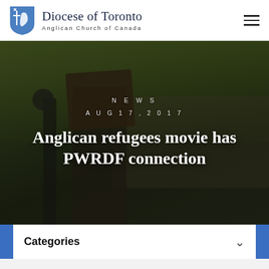Diocese of Toronto Anglican Church of Canada
[Figure (photo): Outdoor gathering with a microphone stand and book/music stand in the foreground, congregation seated in chairs outdoors among trees in background]
NEWS
AUG 17, 2017
Anglican refugees movie has PWRDF connection
Categories